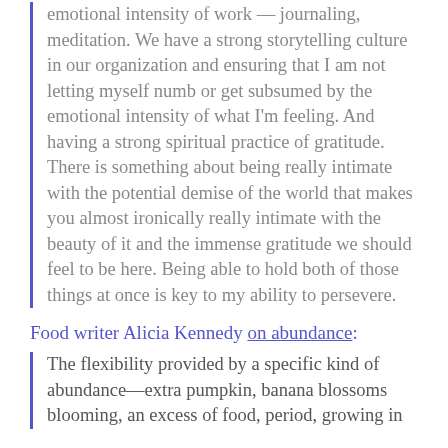emotional intensity of work — journaling, meditation. We have a strong storytelling culture in our organization and ensuring that I am not letting myself numb or get subsumed by the emotional intensity of what I'm feeling. And having a strong spiritual practice of gratitude. There is something about being really intimate with the potential demise of the world that makes you almost ironically really intimate with the beauty of it and the immense gratitude we should feel to be here. Being able to hold both of those things at once is key to my ability to persevere.
Food writer Alicia Kennedy on abundance:
The flexibility provided by a specific kind of abundance—extra pumpkin, banana blossoms blooming, an excess of food, period, growing in